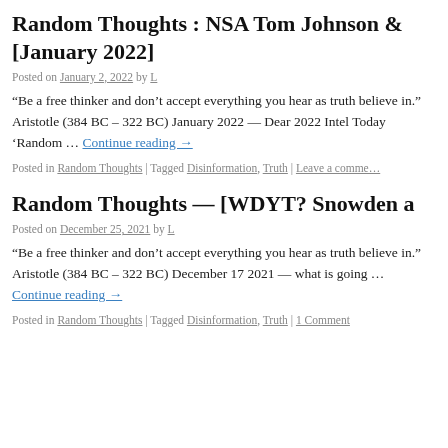Random Thoughts : NSA Tom Johnson & [January 2022]
Posted on January 2, 2022 by L
“Be a free thinker and don’t accept everything you hear as truth believe in.” Aristotle (384 BC – 322 BC) January 2022 — Dear 2022 Intel Today ‘Random … Continue reading →
Posted in Random Thoughts | Tagged Disinformation, Truth | Leave a comment
Random Thoughts — [WDYT? Snowden a
Posted on December 25, 2021 by L
“Be a free thinker and don’t accept everything you hear as truth believe in.” Aristotle (384 BC – 322 BC) December 17 2021 — what is going … Continue reading →
Posted in Random Thoughts | Tagged Disinformation, Truth | 1 Comment